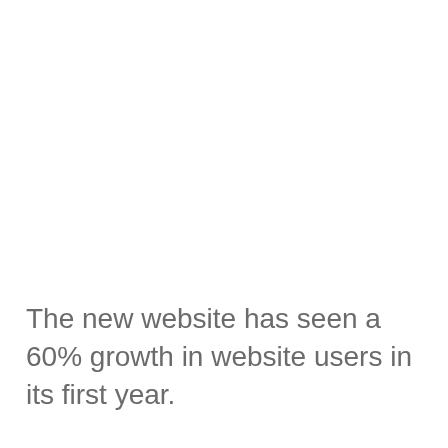The new website has seen a 60% growth in website users in its first year.